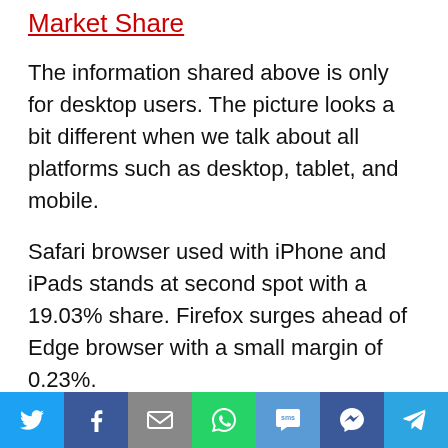Market Share
The information shared above is only for desktop users. The picture looks a bit different when we talk about all platforms such as desktop, tablet, and mobile.
Safari browser used with iPhone and iPads stands at second spot with a 19.03% share. Firefox surges ahead of Edge browser with a small margin of 0.23%.
Edge is constantly working on improving the
Social share bar: Twitter, Facebook, Email, WhatsApp, SMS, Messenger, Telegram